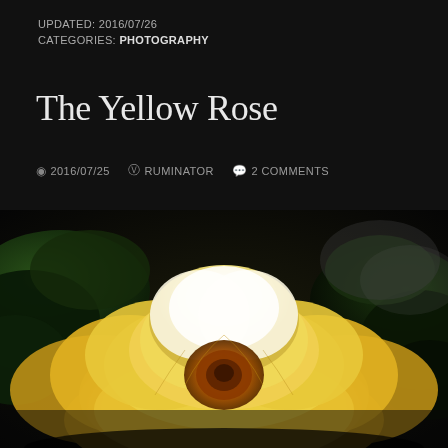UPDATED: 2016/07/26
CATEGORIES: PHOTOGRAPHY
The Yellow Rose
2016/07/25  RUMINATOR  2 COMMENTS
[Figure (photo): Close-up photograph of a yellow rose in full bloom with white-tipped petals against a dark green leafy background]